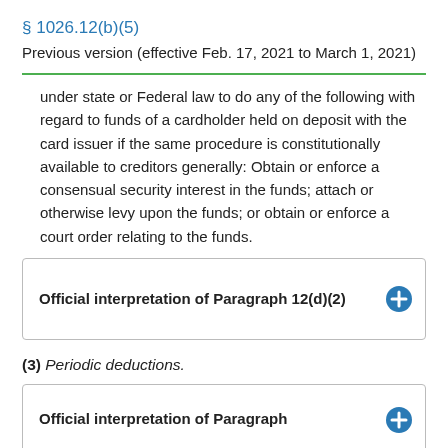§ 1026.12(b)(5)
Previous version (effective Feb. 17, 2021 to March 1, 2021)
under state or Federal law to do any of the following with regard to funds of a cardholder held on deposit with the card issuer if the same procedure is constitutionally available to creditors generally: Obtain or enforce a consensual security interest in the funds; attach or otherwise levy upon the funds; or obtain or enforce a court order relating to the funds.
Official interpretation of Paragraph 12(d)(2)
(3) Periodic deductions.
Official interpretation of Paragraph